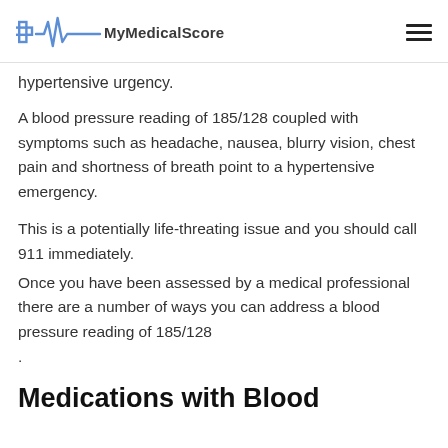MyMedicalScore
hypertensive urgency.
A blood pressure reading of 185/128 coupled with symptoms such as headache, nausea, blurry vision, chest pain and shortness of breath point to a hypertensive emergency.
This is a potentially life-threating issue and you should call 911 immediately. Once you have been assessed by a medical professional there are a number of ways you can address a blood pressure reading of 185/128 .
Medications with Blood